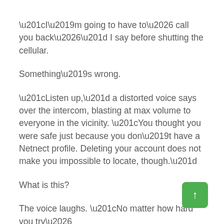“I’m going to have to… call you back…” I say before shutting the cellular.
Something’s wrong.
“Listen up,” a distorted voice says over the intercom, blasting at max volume to everyone in the vicinity. “You thought you were safe just because you don’t have a Netnect profile. Deleting your account does not make you impossible to locate, though.”
What is this?
The voice laughs. “No matter how hard you try… Social Media Killer will still find you.”
[Figure (other): Green rounded button with upward arrow (back-to-top navigation button)]